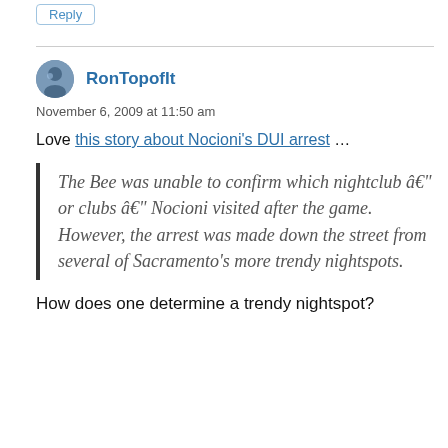Reply
RonTopofIt
November 6, 2009 at 11:50 am
Love this story about Nocioni's DUI arrest ...
The Bee was unable to confirm which nightclub â€" or clubs â€" Nocioni visited after the game. However, the arrest was made down the street from several of Sacramento's more trendy nightspots.
How does one determine a trendy nightspot?